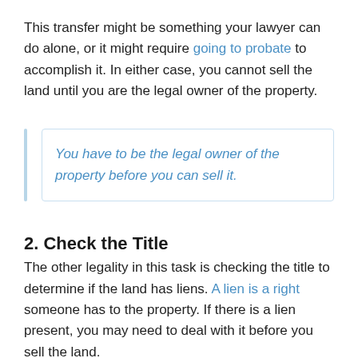This transfer might be something your lawyer can do alone, or it might require going to probate to accomplish it. In either case, you cannot sell the land until you are the legal owner of the property.
You have to be the legal owner of the property before you can sell it.
2. Check the Title
The other legality in this task is checking the title to determine if the land has liens. A lien is a right someone has to the property. If there is a lien present, you may need to deal with it before you sell the land.
The lawyer handling the estate can assist you with this task. If the lawyer finds liens, he or she will help you understand